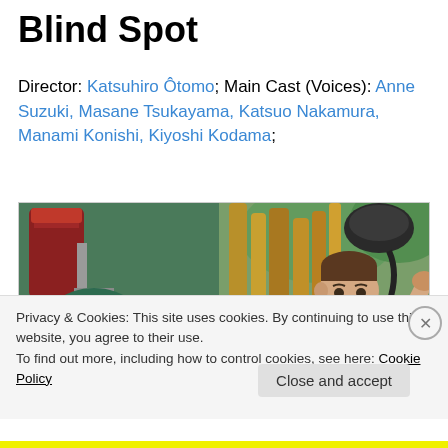Blind Spot
Director: Katsuhiro Ôtomo; Main Cast (Voices): Anne Suzuki, Masane Tsukayama, Katsuo Nakamura, Manami Konishi, Kiyoshi Kodama;
[Figure (photo): Anime still from Blind Spot showing a young boy in suspenders beside large steampunk mechanical equipment with pipes, tanks and gears, set against a green leafy background.]
Privacy & Cookies: This site uses cookies. By continuing to use this website, you agree to their use.
To find out more, including how to control cookies, see here: Cookie Policy
Close and accept